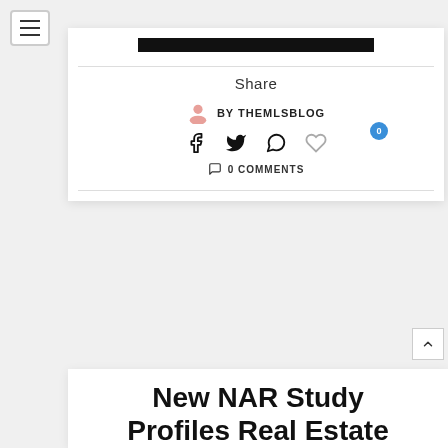[Figure (other): Hamburger menu button icon in top left corner]
[Figure (other): Black horizontal bar / image placeholder centered in white card]
Share
BY THEMLSBLOG
[Figure (other): Social sharing icons row: Facebook, Twitter, WhatsApp, Heart/Like with blue badge showing 0]
0 COMMENTS
New NAR Study Profiles Real Estate